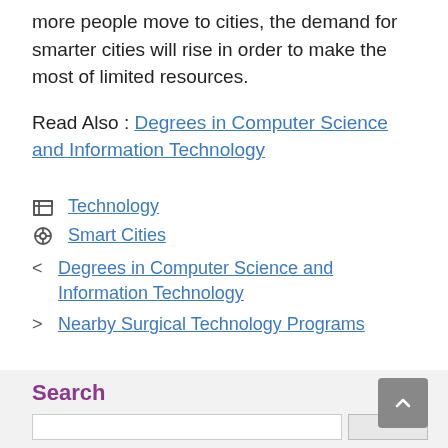more people move to cities, the demand for smarter cities will rise in order to make the most of limited resources.
Read Also : Degrees in Computer Science and Information Technology
Technology
Smart Cities
< Degrees in Computer Science and Information Technology
> Nearby Surgical Technology Programs
Search